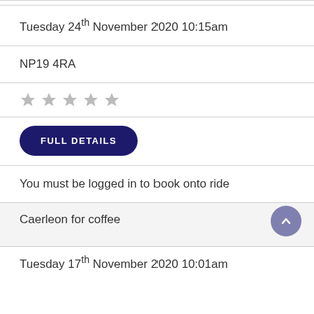Tuesday 24th November 2020 10:15am
NP19 4RA
★ ★ ★ ★ ★ (5 empty stars rating)
FULL DETAILS
You must be logged in to book onto ride
Caerleon for coffee
Tuesday 17th November 2020 10:01am